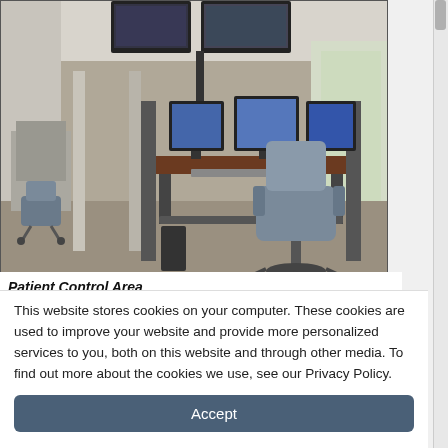[Figure (photo): Photo of a Patient Control Area showing a multi-monitor workstation with several computer monitors and large screens mounted above, an ergonomic office chair, and open office space with additional workstations visible in the background.]
Patient Control Area
This website stores cookies on your computer. These cookies are used to improve your website and provide more personalized services to you, both on this website and through other media. To find out more about the cookies we use, see our Privacy Policy.